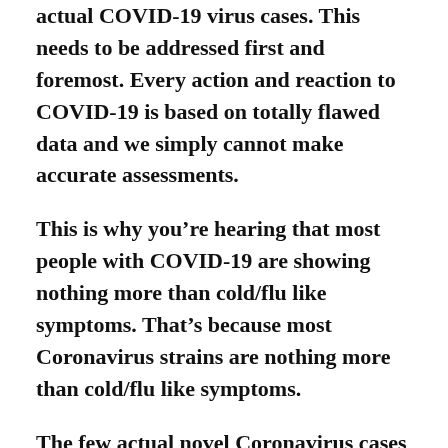actual COVID-19 virus cases. This needs to be addressed first and foremost. Every action and reaction to COVID-19 is based on totally flawed data and we simply cannot make accurate assessments.
This is why you're hearing that most people with COVID-19 are showing nothing more than cold/flu like symptoms. That's because most Coronavirus strains are nothing more than cold/flu like symptoms.
The few actual novel Coronavirus cases do have some worse respiratory responses, but still have a very promising recovery rate, especially for those without prior issues.